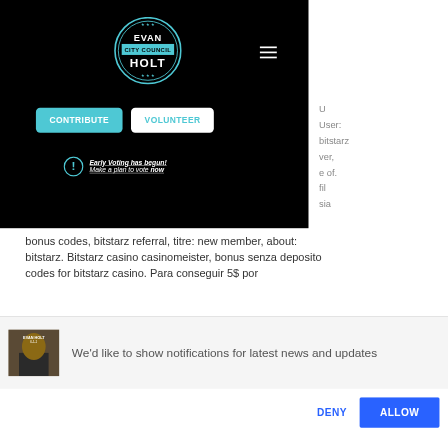[Figure (screenshot): Screenshot of Evan City Council Holt campaign website with black background, circular logo with teal ring, hamburger menu, CONTRIBUTE teal button, VOLUNTEER white button, and Early Voting has begun! notice with exclamation icon]
bonus codes, bitstarz referral, titre: new member, about: bitstarz. Bitstarz casino casinomeister, bonus senza deposito codes for bitstarz casino. Para conseguir 5$ por
We'd like to show notifications for latest news and updates
DENY
ALLOW